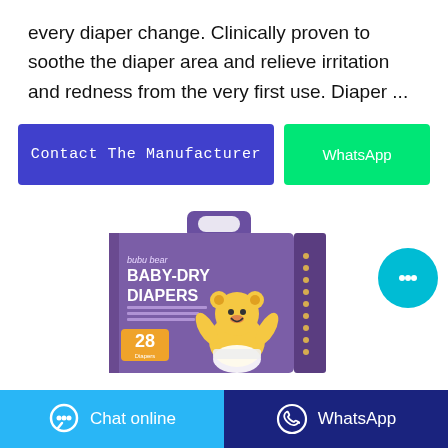every diaper change. Clinically proven to soothe the diaper area and relieve irritation and redness from the very first use. Diaper ...
Contact The Manufacturer
WhatsApp
[Figure (photo): Bubu Bear Baby-Dry Diapers product box, purple packaging with a cartoon bear character, showing 28 count]
Chat online
WhatsApp